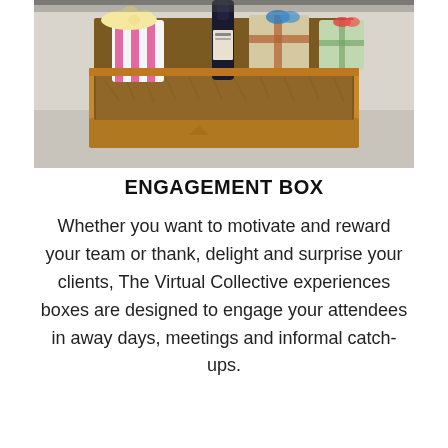[Figure (photo): A cardboard gift box filled with snacks and treats including a pink and white striped popcorn bag, a dark bottle, and various wrapped items, photographed on a light surface.]
ENGAGEMENT BOX
Whether you want to motivate and reward your team or thank, delight and surprise your clients, The Virtual Collective experiences boxes are designed to engage your attendees in away days, meetings and informal catch-ups.